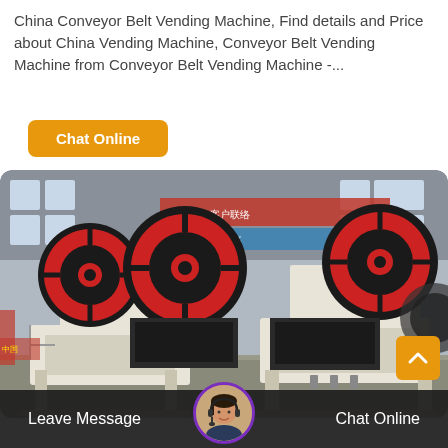China Conveyor Belt Vending Machine, Find details and Price about China Vending Machine, Conveyor Belt Vending Machine from Conveyor Belt Vending Machine -...
Chat Online
[Figure (photo): Industrial jaw crusher machines with large red and black flywheels, white steel frames, photographed in a factory/warehouse setting with Chinese banners in the background.]
Leave Message   Chat Online